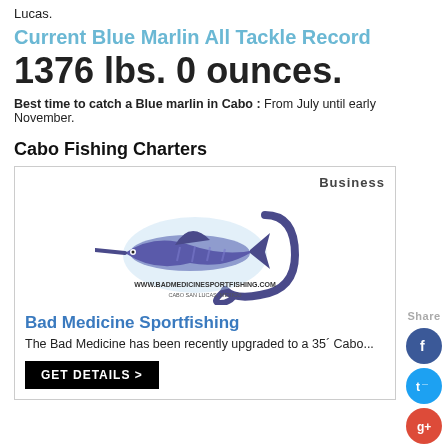Lucas.
Current Blue Marlin All Tackle Record
1376 lbs. 0 ounces.
Best time to catch a Blue marlin in Cabo : From July until early November.
Cabo Fishing Charters
[Figure (logo): Bad Medicine Sportfishing logo with a marlin fish and fishhook graphic, website URL www.badmedicinesportfishing.com, Cabo San Lucas Mexico]
Bad Medicine Sportfishing
The Bad Medicine has been recently upgraded to a 35´ Cabo...
GET DETAILS >